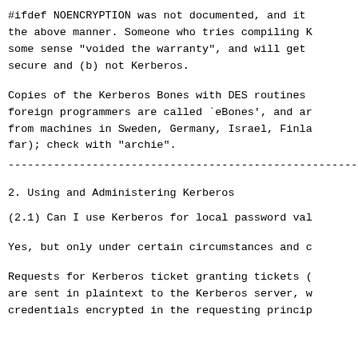#ifdef NOENCRYPTION was not documented, and it the above manner. Someone who tries compiling K some sense "voided the warranty", and will get secure and (b) not Kerberos.
Copies of the Kerberos Bones with DES routines foreign programmers are called `eBones', and ar from machines in Sweden, Germany, Israel, Finla far); check with "archie".
------------------------------------------------------------------------
2. Using and Administering Kerberos
(2.1) Can I use Kerberos for local password val
Yes, but only under certain circumstances and c
Requests for Kerberos ticket granting tickets ( are sent in plaintext to the Kerberos server, w credentials encrypted in the requesting princip